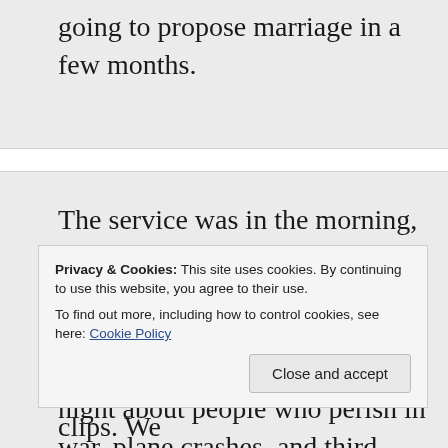going to propose marriage in a few months.
The service was in the morning, and I spent the rest of the day exhausted for the crying I'd done for people I didn't even know. How do we watch the news each night about people who perish in war, plane crashes, and third world nations riddled with disease and not feel the
Privacy & Cookies: This site uses cookies. By continuing to use this website, you agree to their use.
To find out more, including how to control cookies, see here: Cookie Policy
Because we only see the news clips. We